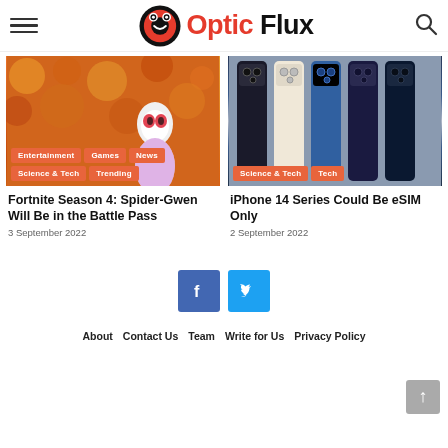Optic Flux
[Figure (photo): Thumbnail of Spider-Gwen character in front of orange autumn leaves background, with tags: Entertainment, Games, News, Science & Tech, Trending]
[Figure (photo): Thumbnail of multiple iPhone 14 models lined up showing different colors and rear cameras, with tags: Science & Tech, Tech]
Fortnite Season 4: Spider-Gwen Will Be in the Battle Pass
3 September 2022
iPhone 14 Series Could Be eSIM Only
2 September 2022
[Figure (infographic): Social media share buttons: Facebook (blue) and Twitter (light blue)]
About   Contact Us   Team   Write for Us   Privacy Policy